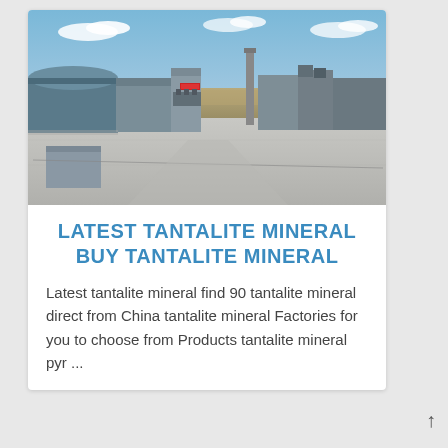[Figure (photo): Aerial view of an industrial facility with large grey buildings, processing equipment, smokestacks, and open concrete yard under a partly cloudy sky]
LATEST TANTALITE MINERAL BUY TANTALITE MINERAL
Latest tantalite mineral find 90 tantalite mineral direct from China tantalite mineral Factories for you to choose from Products tantalite mineral pyr ...